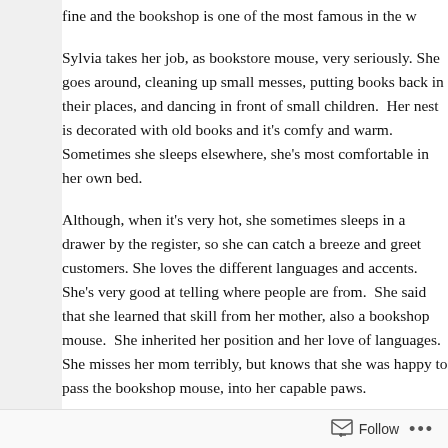fine and the bookshop is one of the most famous in the world.
Sylvia takes her job, as bookstore mouse, very seriously. She goes around, cleaning up small messes, putting books back in their places, and dancing in front of small children.  Her nest is decorated with old books and it's comfy and warm.  Sometimes she sleeps elsewhere, but she's most comfortable in her own bed.
Although, when it's very hot, she sometimes sleeps in a drawer by the register, so she can catch a breeze and greet customers.  She loves the different languages and accents.  She's very good at telling where people are from.  She said that she learned that skill from her mother, also a bookshop mouse.  She inherited her position and her love of languages. She misses her mom terribly, but knows that she was happy to leave the bookshop mouse, into her capable paws.
Now and then she goes out in front of the shop, in order to find flowers. She likes to have a few in her nest.  She knows it's dang...
Follow ...